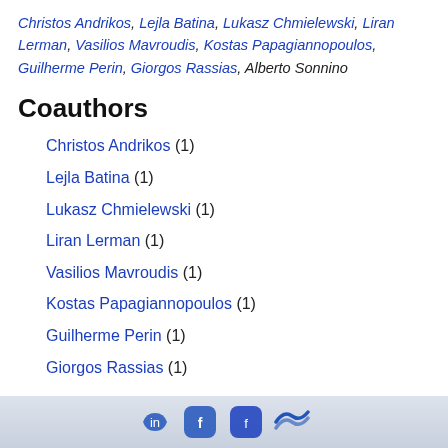Christos Andrikos, Lejla Batina, Lukasz Chmielewski, Liran Lerman, Vasilios Mavroudis, Kostas Papagiannopoulos, Guilherme Perin, Giorgos Rassias, Alberto Sonnino
Coauthors
Christos Andrikos (1)
Lejla Batina (1)
Lukasz Chmielewski (1)
Liran Lerman (1)
Vasilios Mavroudis (1)
Kostas Papagiannopoulos (1)
Guilherme Perin (1)
Giorgos Rassias (1)